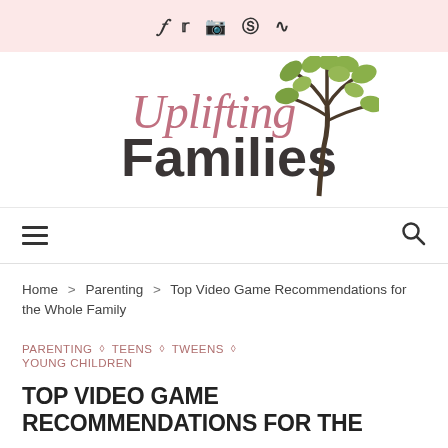f  🐦  📷  Ⓟ  RSS
[Figure (logo): Uplifting Families logo with cursive Uplifting text in pink/rose, bold dark Families text, and a green tree illustration]
≡  🔍
Home > Parenting > Top Video Game Recommendations for the Whole Family
PARENTING ◇ TEENS ◇ TWEENS ◇ YOUNG CHILDREN
TOP VIDEO GAME RECOMMENDATIONS FOR THE